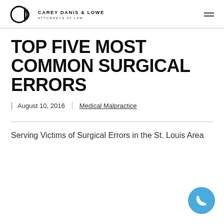CAREY DANIS & LOWE ATTORNEYS AT LAW
TOP FIVE MOST COMMON SURGICAL ERRORS
August 10, 2016 | Medical Malpractice
Serving Victims of Surgical Errors in the St. Louis Area